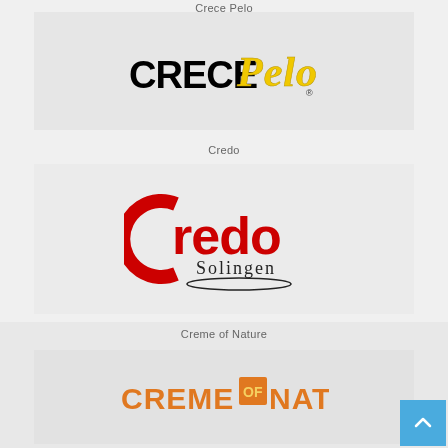Crece Pelo
[Figure (logo): CrecePelo brand logo — bold black letters 'CRECE' with yellow brush-script 'Pelo' and registered trademark symbol]
Credo
[Figure (logo): Credo Solingen brand logo — large red 'Credo' text with an encircling red arc and 'Solingen' in black serif text below with an oval underline]
Creme of Nature
[Figure (logo): Creme of Nature brand logo — orange bold sans-serif text 'CREME OF NATURE.' with 'OF' in a golden/orange square badge]